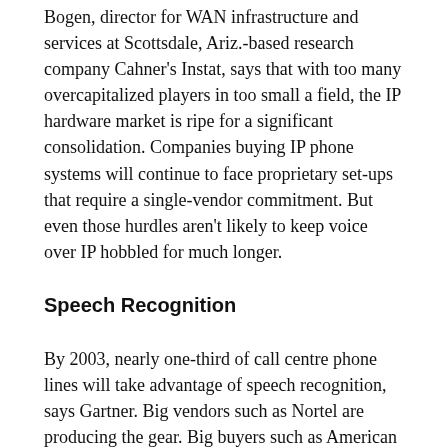Bogen, director for WAN infrastructure and services at Scottsdale, Ariz.-based research company Cahner's Instat, says that with too many overcapitalized players in too small a field, the IP hardware market is ripe for a significant consolidation. Companies buying IP phone systems will continue to face proprietary set-ups that require a single-vendor commitment. But even those hurdles aren't likely to keep voice over IP hobbled for much longer.
Speech Recognition
By 2003, nearly one-third of call centre phone lines will take advantage of speech recognition, says Gartner. Big vendors such as Nortel are producing the gear. Big buyers such as American Airlines, Charles Schwab and UPS are installing it. It may even be built in to your mobile phone. Yes, we're still at least a few years